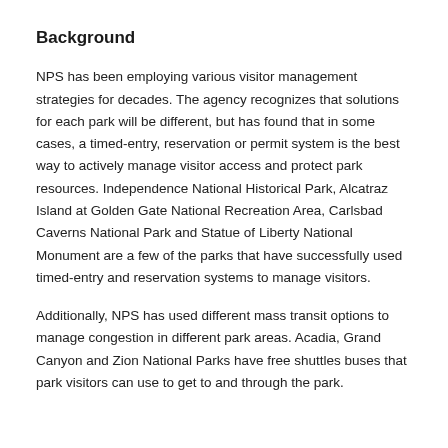Background
NPS has been employing various visitor management strategies for decades. The agency recognizes that solutions for each park will be different, but has found that in some cases, a timed-entry, reservation or permit system is the best way to actively manage visitor access and protect park resources. Independence National Historical Park, Alcatraz Island at Golden Gate National Recreation Area, Carlsbad Caverns National Park and Statue of Liberty National Monument are a few of the parks that have successfully used timed-entry and reservation systems to manage visitors.
Additionally, NPS has used different mass transit options to manage congestion in different park areas. Acadia, Grand Canyon and Zion National Parks have free shuttles buses that park visitors can use to get to and through the park.